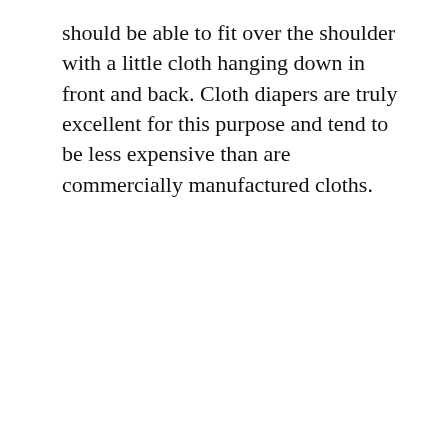should be able to fit over the shoulder with a little cloth hanging down in front and back. Cloth diapers are truly excellent for this purpose and tend to be less expensive than are commercially manufactured cloths.